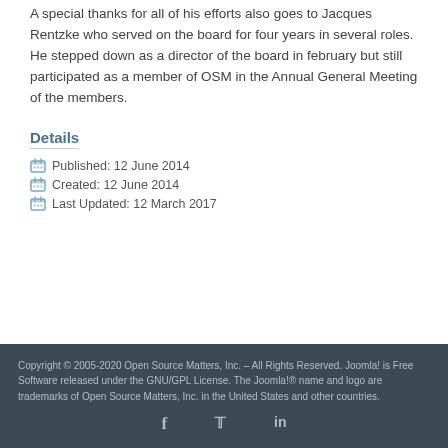A special thanks for all of his efforts also goes to Jacques Rentzke who served on the board for four years in several roles. He stepped down as a director of the board in february but still participated as a member of OSM in the Annual General Meeting of the members.
Details
Published: 12 June 2014
Created: 12 June 2014
Last Updated: 12 March 2017
Copyright © 2005-2020 Open Source Matters, Inc. – All Rights Reserved. Joomla! is Free Software released under the GNU/GPL License. The Joomla!® name and logo are trademarks of Open Source Matters, Inc. in the United States and other countries.